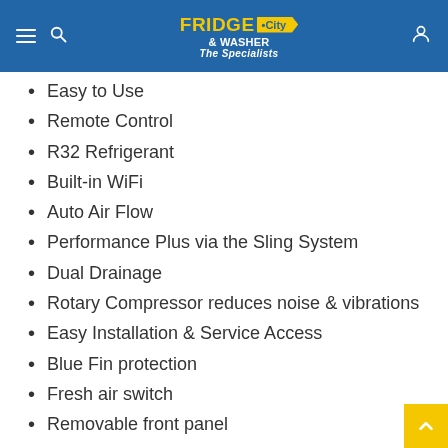Fridge & Washer City — The Specialists
Easy to Use
Remote Control
R32 Refrigerant
Built-in WiFi
Auto Air Flow
Performance Plus via the Sling System
Dual Drainage
Rotary Compressor reduces noise & vibrations
Easy Installation & Service Access
Blue Fin protection
Fresh air switch
Removable front panel